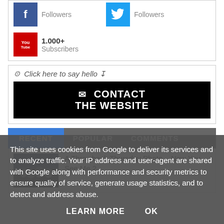[Figure (screenshot): Social media follower counts: Facebook Followers icon, Twitter Followers icon, YouTube 1.000+ Subscribers icon]
[Figure (screenshot): Contact box with 'Click here to say hello' text and black CONTACT THE WEBSITE button with envelope icon]
[Figure (screenshot): Tab bar with RECENT (active/blue), POPULAR, COMMENTS tabs]
[Figure (screenshot): Recent post thumbnail showing group of people, title: A Throwback Thursday Photo - Now You See Me 2]
This site uses cookies from Google to deliver its services and to analyze traffic. Your IP address and user-agent are shared with Google along with performance and security metrics to ensure quality of service, generate usage statistics, and to detect and address abuse.
LEARN MORE   OK